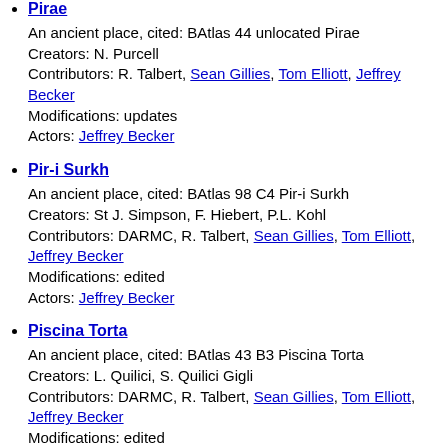Pirae
An ancient place, cited: BAtlas 44 unlocated Pirae
Creators: N. Purcell
Contributors: R. Talbert, Sean Gillies, Tom Elliott, Jeffrey Becker
Modifications: updates
Actors: Jeffrey Becker
Pir-i Surkh
An ancient place, cited: BAtlas 98 C4 Pir-i Surkh
Creators: St J. Simpson, F. Hiebert, P.L. Kohl
Contributors: DARMC, R. Talbert, Sean Gillies, Tom Elliott, Jeffrey Becker
Modifications: edited
Actors: Jeffrey Becker
Piscina Torta
An ancient place, cited: BAtlas 43 B3 Piscina Torta
Creators: L. Quilici, S. Quilici Gigli
Contributors: DARMC, R. Talbert, Sean Gillies, Tom Elliott, Jeffrey Becker
Modifications: edited
Actors: Jeffrey Becker
Pisciolo
An ancient place, cited: BAtlas 45 C3 Pisciolo